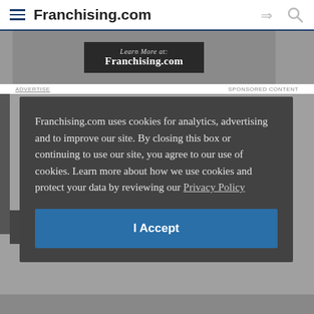Franchising.com
[Figure (screenshot): Franchising.com banner advertisement showing 'Learn More at: Franchising.com' with dark overlay on textured background]
ADVERTISE   SPONSORED CONTENT
Franchising.com uses cookies for analytics, advertising and to improve our site. By closing this box or continuing to use our site, you agree to our use of cookies. Learn more about how we use cookies and protect your data by reviewing our Privacy Policy
I Accept